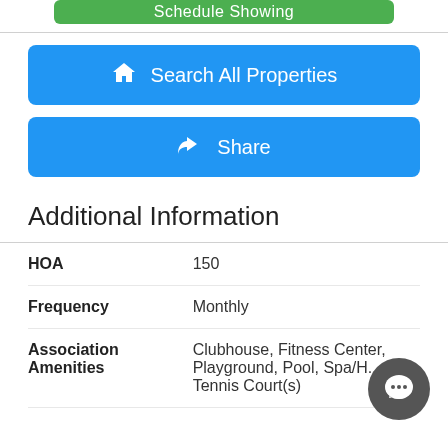[Figure (screenshot): Partial green button at top, cropped]
[Figure (screenshot): Blue 'Search All Properties' button with house icon]
[Figure (screenshot): Blue 'Share' button with share arrow icon]
Additional Information
| Field | Value |
| --- | --- |
| HOA | 150 |
| Frequency | Monthly |
| Association Amenities | Clubhouse, Fitness Center, Playground, Pool, Spa/H... Tennis Court(s) |